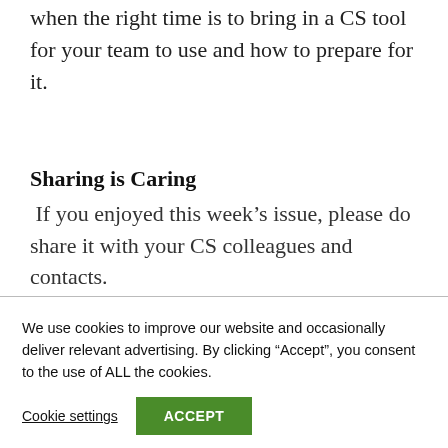when the right time is to bring in a CS tool for your team to use and how to prepare for it.
Sharing is Caring
If you enjoyed this week’s issue, please do share it with your CS colleagues and contacts.
We use cookies to improve our website and occasionally deliver relevant advertising. By clicking “Accept”, you consent to the use of ALL the cookies.